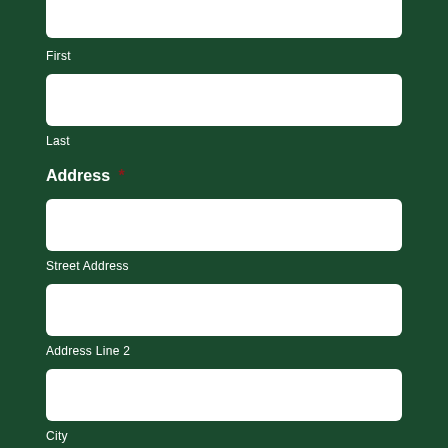First
Last
Address *
Street Address
Address Line 2
City